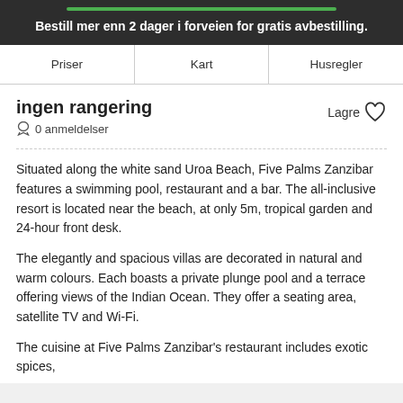Bestill mer enn 2 dager i forveien for gratis avbestilling.
Priser | Kart | Husregler
ingen rangering
0 anmeldelser
Situated along the white sand Uroa Beach, Five Palms Zanzibar features a swimming pool, restaurant and a bar. The all-inclusive resort is located near the beach, at only 5m, tropical garden and 24-hour front desk.
The elegantly and spacious villas are decorated in natural and warm colours. Each boasts a private plunge pool and a terrace offering views of the Indian Ocean. They offer a seating area, satellite TV and Wi-Fi.
The cuisine at Five Palms Zanzibar's restaurant includes exotic spices,
vis mer